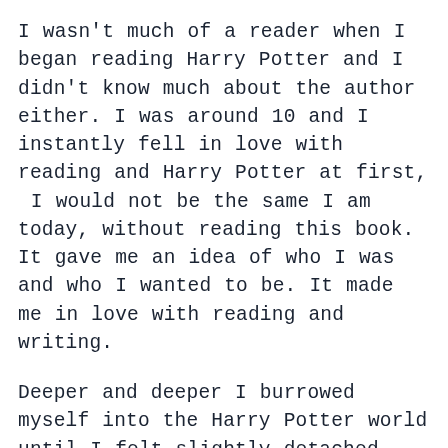I wasn't much of a reader when I began reading Harry Potter and I didn't know much about the author either. I was around 10 and I instantly fell in love with reading and Harry Potter at first, I would not be the same I am today, without reading this book. It gave me an idea of who I was and who I wanted to be. It made me in love with reading and writing.
Deeper and deeper I burrowed myself into the Harry Potter world until I felt slightly detached from the rest of reality. How could this complete captivation of the world not change my life? J.K Rowling inspired me to write with passion, something I've always attempted to do. The universe that she had created was so diverse and spellbinding!